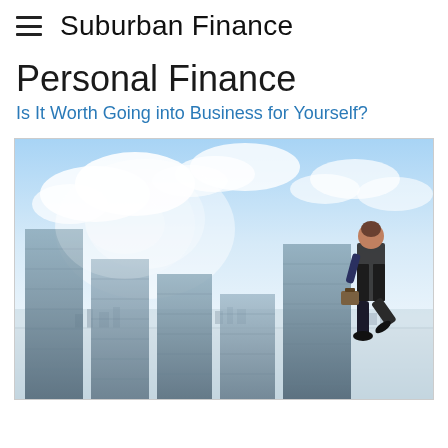Suburban Finance
Personal Finance
Is It Worth Going into Business for Yourself?
[Figure (photo): A person in business attire stepping up on top of a rising bar chart made of buildings, overlooking a cityscape under a bright cloudy sky, symbolizing career or business ambition.]